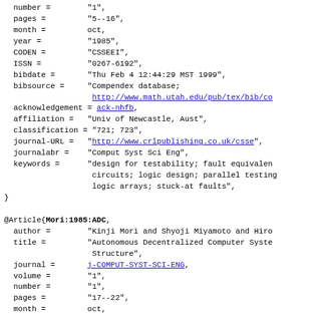number =        "1",
  pages =         "5--16",
  month =         oct,
  year =          "1985",
  CODEN =         "CSSEEI",
  ISSN =          "0267-6192",
  bibdate =       "Thu Feb 4 12:44:29 MST 1999",
  bibsource =     "Compendex database;
                   http://www.math.utah.edu/pub/tex/bib/co
  acknowledgement = ack-nhfb,
  affiliation =   "Univ of Newcastle, Aust",
  classification = "721; 723",
  journal-URL =   "http://www.crlpublishing.co.uk/csse",
  journalabr =    "Comput Syst Sci Eng",
  keywords =      "design for testability; fault equivalen
                   circuits; logic design; parallel testing
                   logic arrays; stuck-at faults",
}

@Article{Mori:1985:ADC,
  author =        "Kinji Mori and Shyoji Miyamoto and Hiro
  title =         "Autonomous Decentralized Computer Syste
                   Structure",
  journal =       j-COMPUT-SYST-SCI-ENG,
  volume =        "1",
  number =        "1",
  pages =         "17--22",
  month =         oct,
  year =          "1985",
  CODEN =         "CSSEEI",